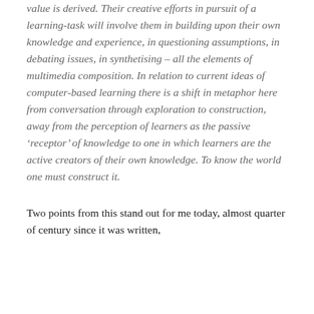value is derived. Their creative efforts in pursuit of a learning-task will involve them in building upon their own knowledge and experience, in questioning assumptions, in debating issues, in synthetising – all the elements of multimedia composition. In relation to current ideas of computer-based learning there is a shift in metaphor here from conversation through exploration to construction, away from the perception of learners as the passive 'receptor' of knowledge to one in which learners are the active creators of their own knowledge. To know the world one must construct it.
Two points from this stand out for me today, almost quarter of century since it was written,